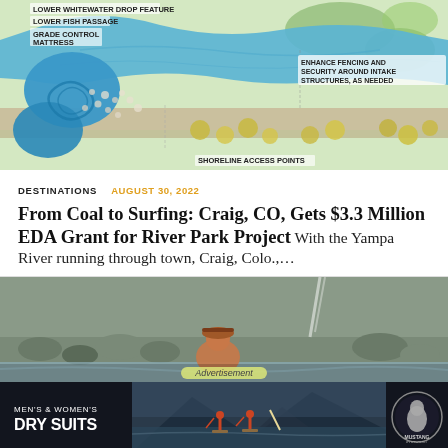[Figure (map): Aerial/plan view map of a river park project showing water features including Lower Whitewater Drop Feature, Lower Fish Passage, Grade Control Mattress, Shoreline Access Points, and Enhance Fencing and Security Around Intake Structures. Blue water bodies with green landscaping.]
DESTINATIONS  AUGUST 30, 2022
From Coal to Surfing: Craig, CO, Gets $3.3 Million EDA Grant for River Park Project  With the Yampa River running through town, Craig, Colo.,…
[Figure (photo): Person kayaking or swimming in a river, viewed from behind, with rocky shoreline in background.]
[Figure (infographic): Advertisement banner: MEN'S & WOMEN'S DRY SUITS with image of people paddleboarding on a calm lake, and Mustang Survival logo on right.]